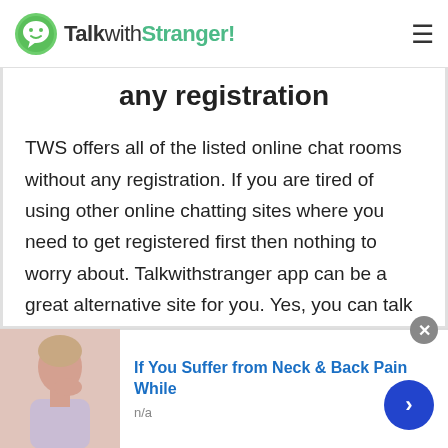TalkwithStranger!
any registration
TWS offers all of the listed online chat rooms without any registration. If you are tired of using other online chatting sites where you need to get registered first then nothing to worry about. Talkwithstranger app can be a great alternative site for you. Yes, you can talk to strangers in Somalia and start a stranger chat with no login chat rooms. TWS specifically designed their no login chat rooms for users who have a busy life schedule. In fact, we all are busy and don't have enough time to fill up the
[Figure (photo): Advertisement banner with a woman holding her neck, titled 'If You Suffer from Neck & Back Pain While', source: n/a]